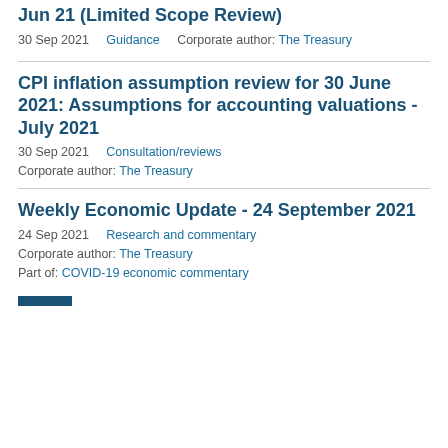Jun 21 (Limited Scope Review)
30 Sep 2021    Guidance    Corporate author: The Treasury
CPI inflation assumption review for 30 June 2021: Assumptions for accounting valuations - July 2021
30 Sep 2021    Consultation/reviews
Corporate author: The Treasury
Weekly Economic Update - 24 September 2021
24 Sep 2021    Research and commentary
Corporate author: The Treasury
Part of: COVID-19 economic commentary